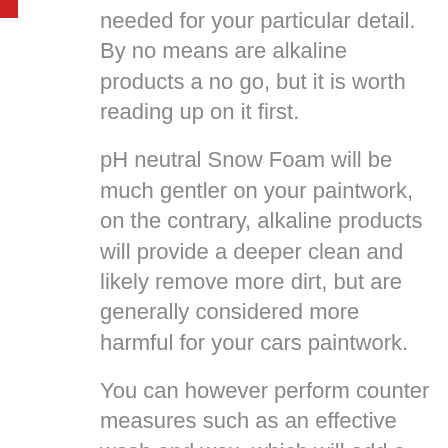needed for your particular detail. By no means are alkaline products a no go, but it is worth reading up on it first.
pH neutral Snow Foam will be much gentler on your paintwork, on the contrary, alkaline products will provide a deeper clean and likely remove more dirt, but are generally considered more harmful for your cars paintwork.
You can however perform counter measures such as an effective wash and wax, which will add a new layer of protection to your car.
The Snow Foam that we use at our studio is Valet Pro.